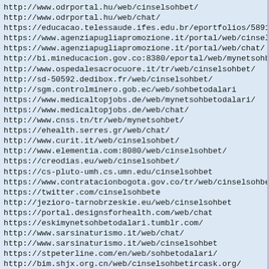http://www.odrportal.hu/web/cinselsohbet/
http://www.odrportal.hu/web/chat/
https://educacao.telessaude.ifes.edu.br/eportfolios/5891/Pg
https://www.agenziapugliapromozione.it/portal/web/cinselsoh
https://www.agenziapugliapromozione.it/portal/web/chat/
http://bi.mineducacion.gov.co:8380/eportal/web/mynetsohbet
http://www.ospedalesacrocuore.it/tr/web/cinselsohbet/
http://sd-50592.dedibox.fr/web/cinselsohbet/
http://sgm.controlminero.gob.ec/web/sohbetodalari
https://www.medicaltopjobs.de/web/mynetsohbetodalari/
https://www.medicaltopjobs.de/web/chat/
http://www.cnss.tn/tr/web/mynetsohbet/
https://ehealth.serres.gr/web/chat/
http://www.curit.it/web/cinselsohbet/
http://www.elementia.com:8080/web/cinselsohbet/
https://creodias.eu/web/cinselsohbet/
https://cs-pluto-umh.cs.umn.edu/cinselsohbet
https://www.contratacionbogota.gov.co/tr/web/cinselsohbet/
https://twitter.com/cinselsohbete
http://jezioro-tarnobrzeskie.eu/web/cinselsohbet
https://portal.designsforhealth.com/web/chat
https://eskimynetsohbetodalari.tumblr.com/
http://www.sarsinaturismo.it/web/chat/
http://www.sarsinaturismo.it/web/cinselsohbet
https://stpeterline.com/en/web/sohbetodalari/
http://bim.shjx.org.cn/web/cinselsohbetircask.org/
http://sgm.controlminero.gob.ec/web/chat
https://stpeterline.com/en/web/mynetsohbet
https://www.budapestkozut.hu/web/sohbet/
http://mynetsohbet.simpsite.nl/